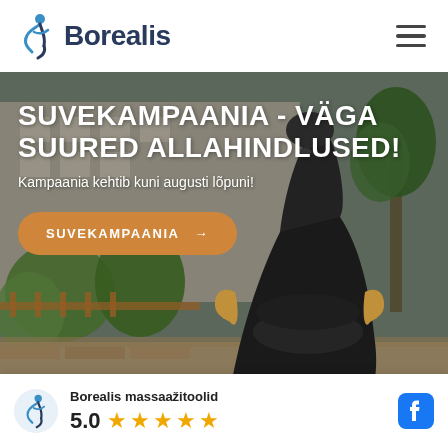[Figure (logo): Borealis logo with blue figure icon and dark blue text]
[Figure (photo): Hero banner showing a black massage chair outdoors in a park setting with text overlay]
SUVEKAMPAANIA - VÄGA SUURED ALLAHINDLUSED!
Kampaania kehtib kuni augusti lõpuni!
SUVEKAMPAANIA →
Borealis massaažitoolid
5.0 ★★★★★